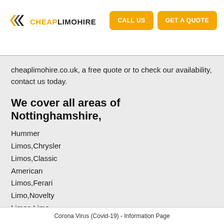CHEAP LIMO HIRE | CALL US | GET A QUOTE
cheaplimohire.co.uk, a free quote or to check our availability, contact us today.
We cover all areas of Nottinghamshire,
Hummer
Limos,Chrysler
Limos,Classic
American
Limos,Ferari
Limo,Novelty
Limos,Limo
Buses,Audi Q7
Limo,Range Rover
Limo,Rolls Royce
Phantom Limo,Pink
Corona Virus (Covid-19) - Information Page